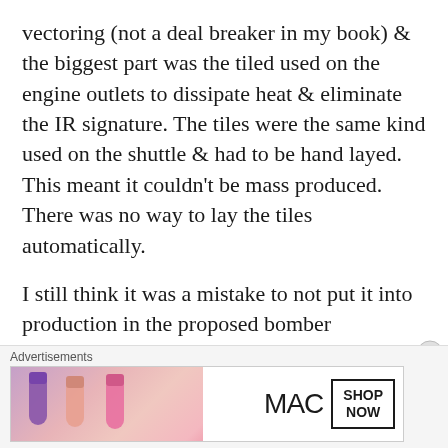vectoring (not a deal breaker in my book) & the biggest part was the tiled used on the engine outlets to dissipate heat & eliminate the IR signature. The tiles were the same kind used on the shuttle & had to be hand layed. This meant it couldn't be mass produced. There was no way to lay the tiles automatically.
I still think it was a mistake to not put it into production in the proposed bomber configuration. I also think they should have followed through with the F-22NA (Navy carrier variant) it never made it past the concept stage. But I think the thrust vectoring would have been great for carrier STO. Should
Advertisements
[Figure (photo): MAC cosmetics advertisement banner showing lipsticks in purple, peach, pink, and red colors with MAC logo and a 'SHOP NOW' button box]